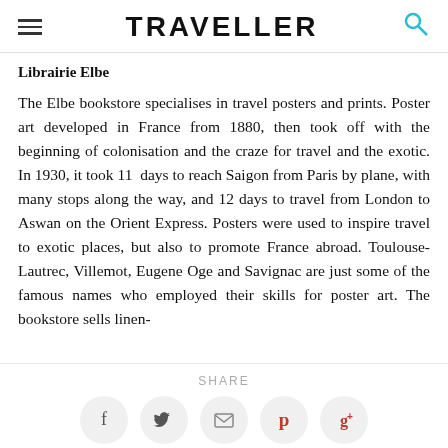TRAVELLER
Librairie Elbe
The Elbe bookstore specialises in travel posters and prints. Poster art developed in France from 1880, then took off with the beginning of colonisation and the craze for travel and the exotic. In 1930, it took 11 days to reach Saigon from Paris by plane, with many stops along the way, and 12 days to travel from London to Aswan on the Orient Express. Posters were used to inspire travel to exotic places, but also to promote France abroad. Toulouse-Lautrec, Villemot, Eugene Oge and Savignac are just some of the famous names who employed their skills for poster art. The bookstore sells linen-
SHARE